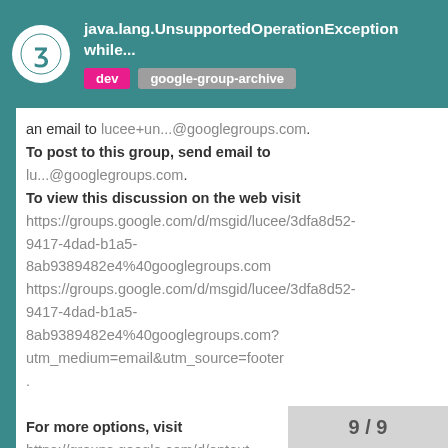java.lang.UnsupportedOperationException while...
an email to lucee+un...@googlegroups.com.
To post to this group, send email to lu...@googlegroups.com.
To view this discussion on the web visit https://groups.google.com/d/msgid/lucee/3dfa8d52-9417-4dad-b1a5-8ab9389482e4%40googlegroups.com https://groups.google.com/d/msgid/lucee/3dfa8d52-9417-4dad-b1a5-8ab9389482e4%40googlegroups.com?utm_medium=email&utm_source=footer .

For more options, visit https://groups.google.com/d/optout.
9 / 9